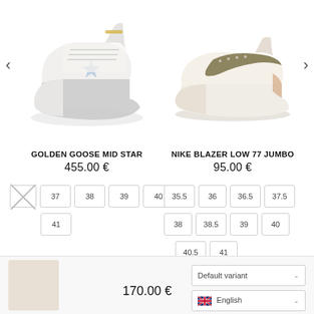[Figure (photo): White Golden Goose Mid Star sneaker with blue star]
[Figure (photo): Nike Blazer Low 77 Jumbo sneaker in cream/olive colorway]
GOLDEN GOOSE MID STAR
455.00 €
NIKE BLAZER LOW 77 JUMBO
95.00 €
Sizes: 37, 38, 39, 40, 41 (with crossed-out unavailable option)
Sizes: 35.5, 36, 36.5, 37.5, 38, 38.5, 39, 40, 40.5, 41
170.00 €
Default variant
English